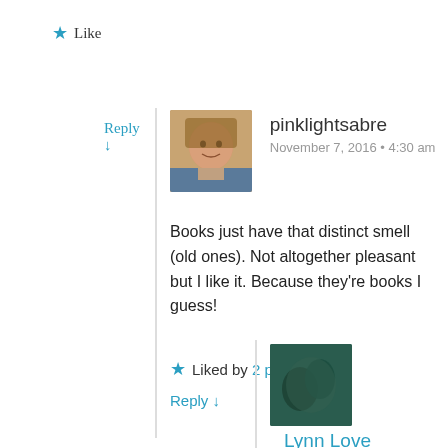★ Like
Reply ↓
pinklightsabre
November 7, 2016 • 4:30 am
Books just have that distinct smell (old ones). Not altogether pleasant but I like it. Because they're books I guess!
★ Liked by 2 people
Reply ↓
Lynn Love
November 7, 2016 • 7:13 am
Yes, I don't mind the musty book smell, but never took to that dictinctive smell that vinyl record shops had. Though my other half loves